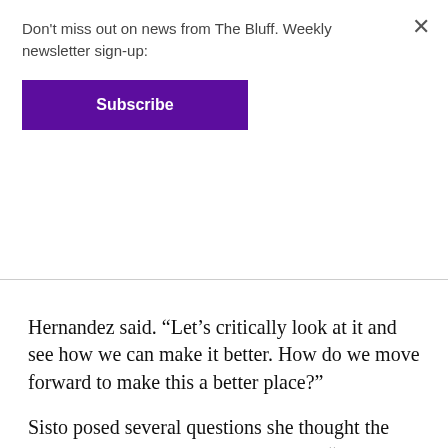Don't miss out on news from The Bluff. Weekly newsletter sign-up:
Subscribe
Hernandez said. “Let’s critically look at it and see how we can make it better. How do we move forward to make this a better place?”
Sisto posed several questions she thought the community should be asking such as “what are we doing to celebrate culture rather than appropriate it?”
ASUP President Quin Chadwick, who also lives in Villa but was not part of the group in sombreros, said he too hopes to use this